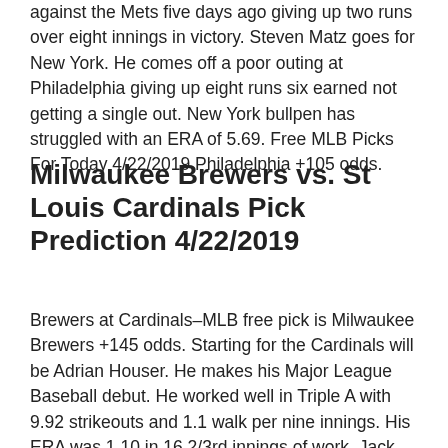against the Mets five days ago giving up two runs over eight innings in victory. Steven Matz goes for New York. He comes off a poor outing at Philadelphia giving up eight runs six earned not getting a single out. New York bullpen has struggled with an ERA of 5.69. Free MLB Picks For Today 4/22/2019 Philadelphia +105 odds.
Milwaukee Brewers vs. St Louis Cardinals Pick Prediction 4/22/2019
Brewers at Cardinals–MLB free pick is Milwaukee Brewers +145 odds. Starting for the Cardinals will be Adrian Houser. He makes his Major League Baseball debut. He worked well in Triple A with 9.92 strikeouts and 1.1 walk per nine innings. His ERA was 1.10 in 16 2/3rd innings of work. Jack Flaherty goes for St Louis. The righthander in two starts against Milwaukee this season has given up nine runs over seven innings pitched. Team record in his seven